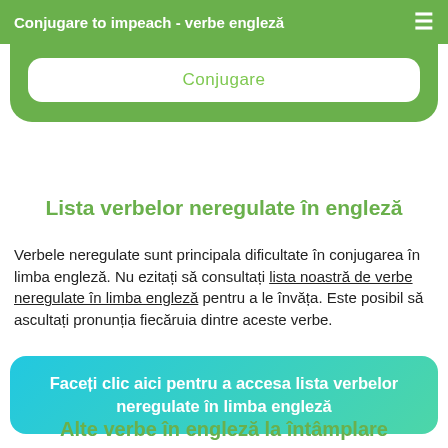Conjugare to impeach - verbe engleză
[Figure (screenshot): Green rounded card with white inner box containing the label 'Conjugare']
Lista verbelor neregulate în engleză
Verbele neregulate sunt principala dificultate în conjugarea în limba engleză. Nu ezitați să consultați lista noastră de verbe neregulate în limba engleză pentru a le învăța. Este posibil să ascultați pronunția fiecăruia dintre aceste verbe.
Faceți clic aici pentru a accesa lista verbelor neregulate în limba engleză
Alte verbe în engleză la întâmplare